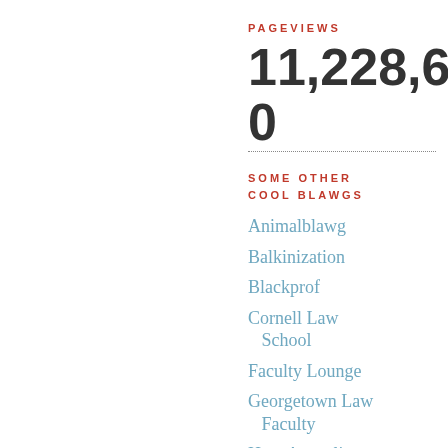PAGEVIEWS
11,228,640
SOME OTHER COOL BLAWGS
Animalblawg
Balkinization
Blackprof
Cornell Law School
Faculty Lounge
Georgetown Law Faculty
How Appealing
IntLawGrrls
Jurisdynamics
Justia
Legal History